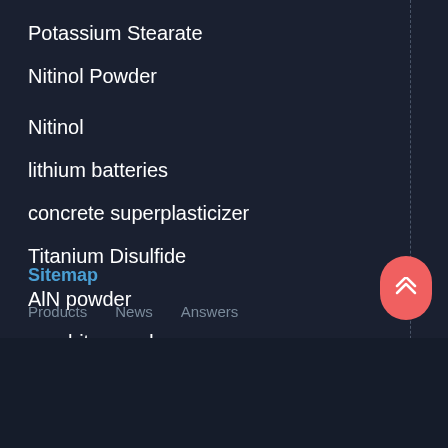Potassium Stearate
Nitinol Powder
Nitinol
lithium batteries
concrete superplasticizer
Titanium Disulfide
AlN powder
graphite powder
zinc stearate emulsion
Sitemap  Products  News  Answers